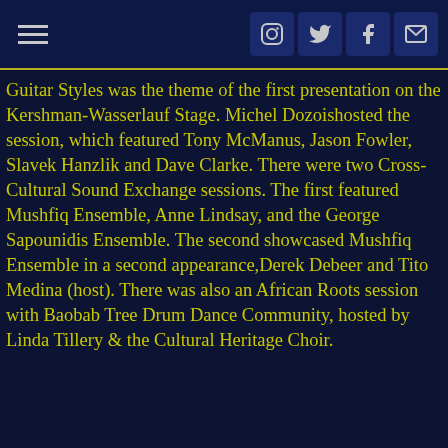Navigation header with hamburger menu and social icons (Instagram, Twitter, Facebook, Email)
Guitar Styles was the theme of the first presentation on the Kershman-Wasserlauf Stage. Michel Dozoishosted the session, which featured Tony McManus, Jason Fowler, Slavek Hanzlik and Dave Clarke. There were two Cross-Cultural Sound Exchange sessions. The first featured Mushfiq Ensemble, Anne Lindsay, and the George Sapounidis Ensemble. The second showcased Mushfiq Ensemble in a second appearance,Derek Debeer and Tito Medina (host). There was also an African Roots session with Baobab Tree Drum Dance Community, hosted by Linda Tillery & the Cultural Heritage Choir.